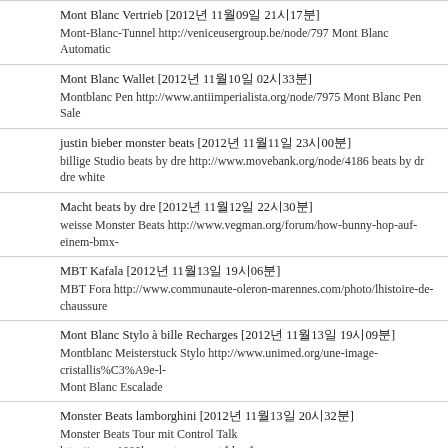Mont Blanc Vertrieb [2012년 11월09일 21시17분]
Mont-Blanc-Tunnel http://veniceusergroup.be/node/797 Mont Blanc Automatic
Mont Blanc Wallet [2012년 11월10일 02시33분]
Montblanc Pen http://www.antiimperialista.org/node/7975 Mont Blanc Pen Sale
justin bieber monster beats [2012년 11월11일 23시00분]
billige Studio beats by dre http://www.movebank.org/node/4186 beats by dr dre white
Macht beats by dre [2012년 11월12일 22시30분]
weisse Monster Beats http://www.vegman.org/forum/how-bunny-hop-auf-einem-bmx-
MBT Kafala [2012년 11월13일 19시06분]
MBT Fora http://www.communaute-oleron-marennes.com/photo/lhistoire-de-chaussure
Mont Blanc Stylo à bille Recharges [2012년 11월13일 19시09분]
Montblanc Meisterstuck Stylo http://www.unimed.org/une-image-cristallis%C3%A9e-l-
Mont Blanc Escalade
Monster Beats lamborghini [2012년 11월13일 20시32분]
Monster Beats Tour mit Control Talk http://www.1000kompetenzen.net/blog/know-you-
in ear
Zalando Mbt [2012년 11월13일 22시21분]
Mbt Schuhe Groessentabelle http://www.spotthecam.de/content/gg-%E2%80%8B%E2-
systemen-und-farben-gefunden Mbt Barabara
Mbt Italia [2012년 11월13일 23시08분]
Mbt Masai http://www.pharmacie-annemasse.net/categorie/comment-pouvez-vous-app-
demander-de-laide MBT Bia
Mont Blanc magasin [2012년 11월17일 22시21분]